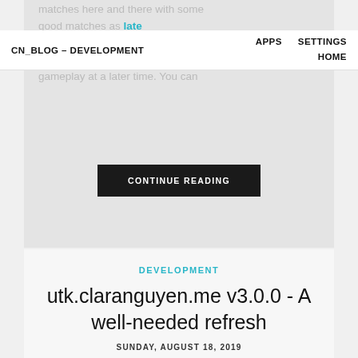CN_BLOG – DEVELOPMENT   APPS   SETTINGS   HOME
matches here and there with some good matches as replays. With replays, you can go and rewatch gameplay at a later time. You can
CONTINUE READING
DEVELOPMENT
utk.claranguyen.me v3.0.0 - A well-needed refresh
SUNDAY, AUGUST 18, 2019
[Figure (photo): Dark background photo showing blurred code on a dark surface, resembling a laptop or keyboard with code text visible]